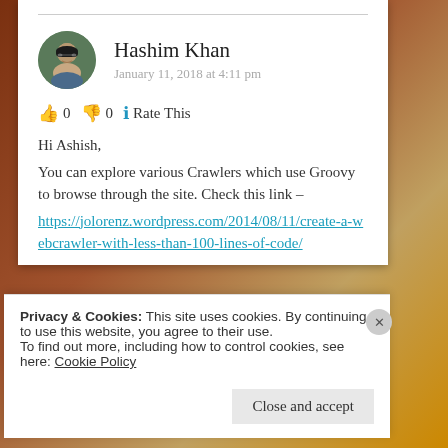Hashim Khan
January 11, 2018 at 4:11 pm
👍 0 👎 0 ℹ Rate This
Hi Ashish,
You can explore various Crawlers which use Groovy to browse through the site. Check this link –
https://jolorenz.wordpress.com/2014/08/11/create-a-webcrawler-with-less-than-100-lines-of-code/
Privacy & Cookies: This site uses cookies. By continuing to use this website, you agree to their use.
To find out more, including how to control cookies, see here: Cookie Policy
Close and accept